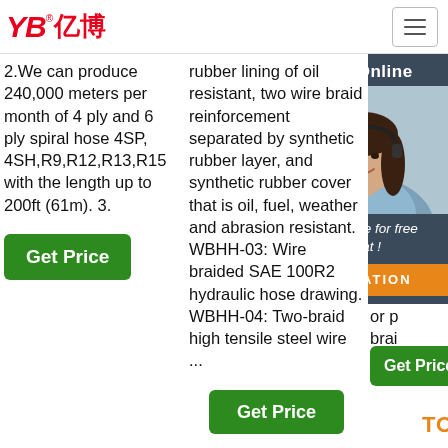[Figure (logo): YB亿博 company logo in red with registered trademark symbol]
2.We can produce 240,000 meters per month of 4 ply and 6 ply spiral hose 4SP, 4SH,R9,R12,R13,R15 with the length up to 200ft (61m). 3.
rubber lining of oil resistant, two wire braid reinforcement separated by synthetic rubber layer, and synthetic rubber cover that is oil, fuel, weather and abrasion resistant. WBHH-03: Wire braided SAE 100R2 hydraulic hose drawing. WBHH-04: Two-braid high tensile steel wire ...
vacuum app... petro... and hyd... con... inne... resi... rub... rein... con... or p... brai...
[Figure (infographic): 24/7 Online chat widget with photo of woman with headset, 'Click here for free chat!' text and orange QUOTATION button]
Get Price
Get Price
Get Price